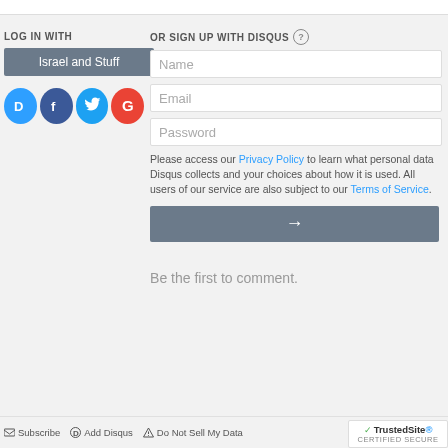LOG IN WITH
Israel and Stuff
[Figure (illustration): Four social login icon buttons: Disqus (blue D), Facebook (dark blue F), Twitter (light blue bird), Google (red G)]
OR SIGN UP WITH DISQUS ?
Name
Email
Password
Please access our Privacy Policy to learn what personal data Disqus collects and your choices about how it is used. All users of our service are also subject to our Terms of Service.
[Figure (other): Submit button with right arrow icon on dark gray background]
Be the first to comment.
Subscribe  Add Disqus  Do Not Sell My Data
[Figure (logo): TrustedSite CERTIFIED SECURE badge with green checkmark]